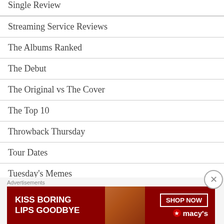Single Review
Streaming Service Reviews
The Albums Ranked
The Debut
The Original vs The Cover
The Top 10
Throwback Thursday
Tour Dates
Tuesday's Memes
Turntables & Vinyl
Uncategorized
Advertisements
[Figure (photo): Macy's advertisement banner: 'KISS BORING LIPS GOODBYE' with SHOP NOW button and Macy's logo, featuring a woman with red lips]